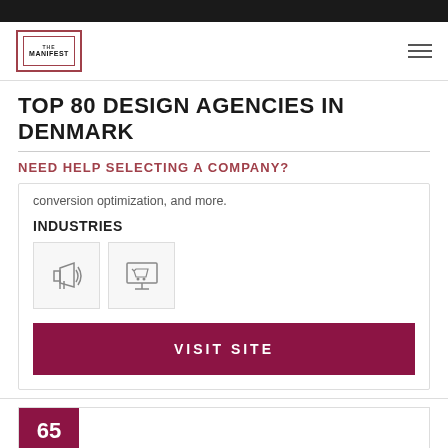[Figure (logo): The Manifest logo — nested rectangles in dark red/maroon with 'THE MANIFEST' text]
TOP 80 DESIGN AGENCIES IN DENMARK
NEED HELP SELECTING A COMPANY?
conversion optimization, and more.
INDUSTRIES
[Figure (illustration): Two industry icons: a megaphone/bullhorn icon and a monitor with shopping cart icon]
VISIT SITE
65